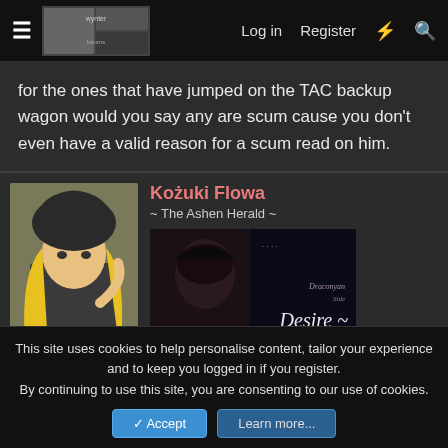Log in   Register
for the ones that have jumped on the TAC backup wagon would you say any are scum cause you don't even have a valid reason for a scum read on him.
[Figure (illustration): Anime character avatar with blonde hair and dark costume, Kozuki Flowa user profile]
Kozuki Flowa
~ The Ashen Herald ~
[Figure (illustration): Dark banner image with 'Desire ~' text in italic script]
This site uses cookies to help personalise content, tailor your experience and to keep you logged in if you register.
By continuing to use this site, you are consenting to our use of cookies.
Accept   Learn more...